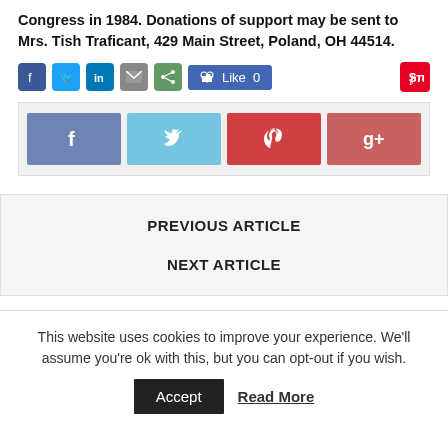Congress in 1984. Donations of support may be sent to Mrs. Tish Traficant, 429 Main Street, Poland, OH 44514.
[Figure (infographic): Social media sharing buttons row: Facebook, Twitter, LinkedIn, Email, Share icons; Facebook Like button showing 0 likes; Pinterest icon]
[Figure (infographic): Large social sharing bar with four colored buttons: Facebook (purple-blue), Twitter (light blue), Pinterest (red), Google+ (salmon-red)]
PREVIOUS ARTICLE
NEXT ARTICLE
This website uses cookies to improve your experience. We'll assume you're ok with this, but you can opt-out if you wish.
Accept   Read More